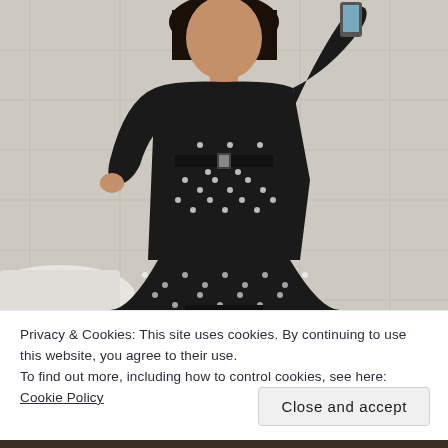[Figure (photo): A person wearing a black cardigan over a black and white polka dot dress with a black belt, taking a mirror selfie in a bathroom with white tiles. They are wearing black leggings.]
Privacy & Cookies: This site uses cookies. By continuing to use this website, you agree to their use.
To find out more, including how to control cookies, see here: Cookie Policy
Close and accept